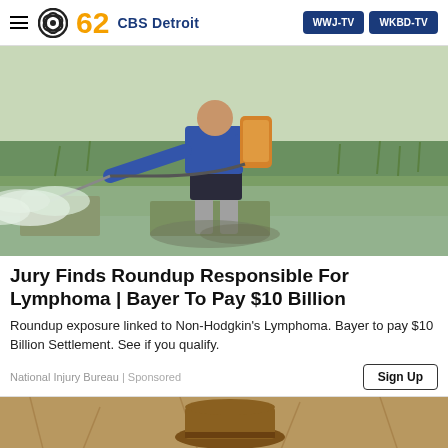62 CBS Detroit | WWJ-TV | WKBD-TV
[Figure (photo): Person wearing blue long-sleeve shirt and dark shorts, carrying a backpack pesticide sprayer, walking through a flooded rice field while spraying chemicals. White mist visible from sprayer nozzle.]
Jury Finds Roundup Responsible For Lymphoma | Bayer To Pay $10 Billion
Roundup exposure linked to Non-Hodgkin's Lymphoma. Bayer to pay $10 Billion Settlement. See if you qualify.
National Injury Bureau | Sponsored
[Figure (photo): Bottom strip showing a partial image, appears to be a desert or dry landscape scene with a hat visible.]